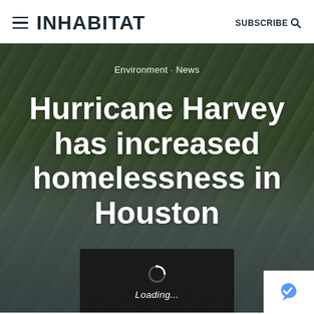INHABITAT  SUBSCRIBE
Environment · News
Hurricane Harvey has increased homelessness in Houston
[Figure (photo): Outdoor homeless encampment with tents and debris under trees, used as hero image background]
Loading...